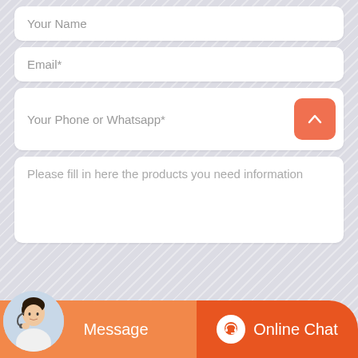Productname*
Your Name
Email*
Your Phone or Whatsapp*
Please fill in here the products you need information
Message
Online Chat